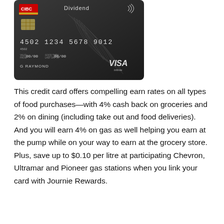[Figure (photo): CIBC Dividend Visa Infinite credit card — dark graphite card with CIBC logo in red/gold top-left, 'Dividend' text top-center, contactless symbol, chip, card number 4502 1234 5678 9012, valid from/thru 00/00, cardholder name G RAYMOND, VISA Infinite logo bottom-right, decorative leaf/feather pattern]
This credit card offers compelling earn rates on all types of food purchases—with 4% cash back on groceries and 2% on dining (including take out and food deliveries). And you will earn 4% on gas as well helping you earn at the pump while on your way to earn at the grocery store. Plus, save up to $0.10 per litre at participating Chevron, Ultramar and Pioneer gas stations when you link your card with Journie Rewards.